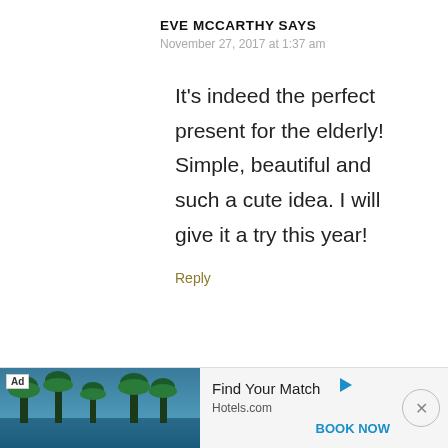EVE MCCARTHY SAYS
November 27, 2017 at 1:37 am
It's indeed the perfect present for the elderly! Simple, beautiful and such a cute idea. I will give it a try this year!
Reply
[Figure (screenshot): Advertisement banner from Hotels.com showing a tropical resort image with palm trees, 'Find Your Match' headline, Hotels.com domain text, and a 'BOOK NOW' call to action button in blue.]